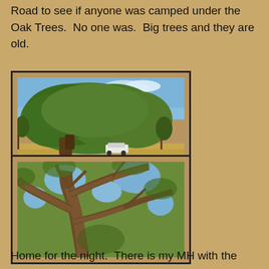Road to see if anyone was camped under the Oak Trees.  No one was.  Big trees and they are old.
[Figure (photo): Large spreading oak tree photographed from ground level, with a white vehicle parked beneath it for scale. Sandy ground, blue sky with clouds in background.]
[Figure (photo): Looking up into the branches and canopy of a large oak tree, showing thick gnarled trunk branches spreading out against a blue sky.]
Home for the night.  There is my MH with the